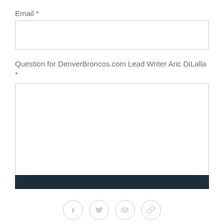Email *
[Figure (other): Empty email input text field]
Question for DenverBroncos.com Lead Writer Aric DiLalla *
[Figure (other): Large empty textarea input field]
[Figure (other): Dark navy submit button bar]
[Figure (other): Social share icons: Facebook, Twitter, Email, Link]